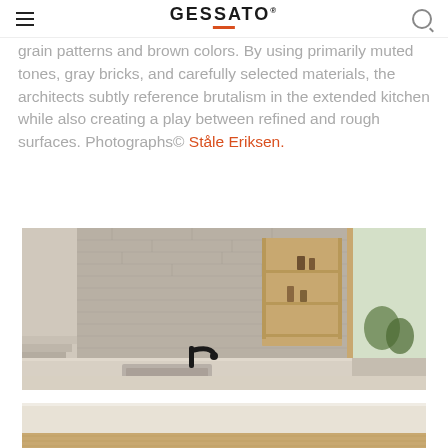GESSATO
grain patterns and brown colors. By using primarily muted tones, gray bricks, and carefully selected materials, the architects subtly reference brutalism in the extended kitchen while also creating a play between refined and rough surfaces. Photographs© Ståle Eriksen.
[Figure (photo): Interior kitchen photo showing gray brick wall, wooden shelving unit with items, stone countertop with black faucet and sink, steps leading up on the left, and a window on the right with plants visible outside.]
[Figure (photo): Partial view of a light beige kitchen countertop with wooden cabinet below, cropped at the bottom of the page.]